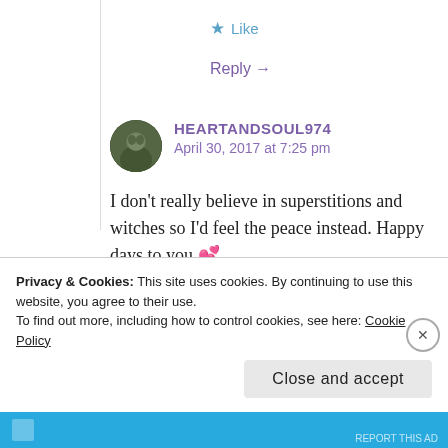★ Like
Reply →
HEARTANDSOUL974
April 30, 2017 at 7:25 pm
I don't really believe in superstitions and witches so I'd feel the peace instead. Happy days to you.💕
Privacy & Cookies: This site uses cookies. By continuing to use this website, you agree to their use.
To find out more, including how to control cookies, see here: Cookie Policy
Close and accept